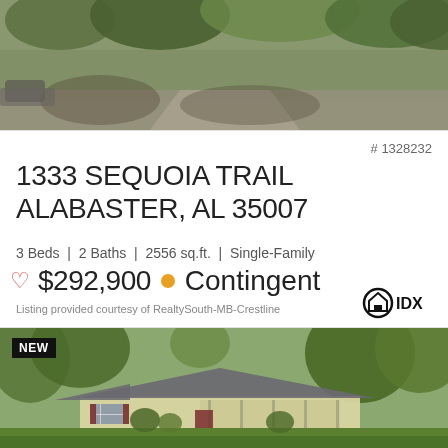[Figure (photo): Aerial/street view of wooded property with trees and driveway, partial view of house]
# 1328232
1333 SEQUOIA TRAIL
ALABASTER, AL 35007
3 Beds | 2 Baths | 2556 sq.ft. | Single-Family
♡ $292,900 • Contingent
Listing provided courtesy of RealtySouth-MB-Crestline
[Figure (photo): NEW listing: ranch-style home with yellow siding, dark shutters, covered porch, surrounded by large trees and green lawn]